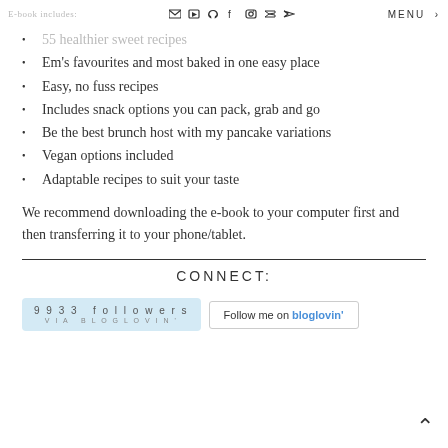E-book includes: | social icons | MENU
55 healthier sweet recipes
Em's favourites and most baked in one easy place
Easy, no fuss recipes
Includes snack options you can pack, grab and go
Be the best brunch host with my pancake variations
Vegan options included
Adaptable recipes to suit your taste
We recommend downloading the e-book to your computer first and then transferring it to your phone/tablet.
CONNECT:
[Figure (other): Bloglovin follow widget showing 9933 followers badge and Follow me on bloglovin button]